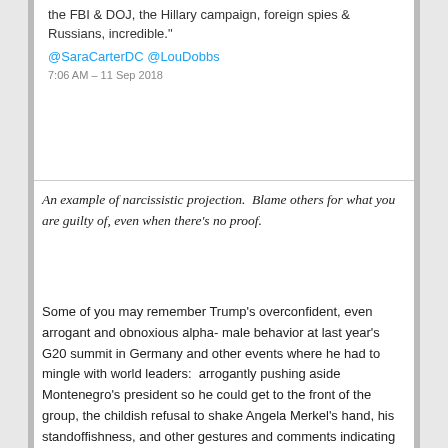[Figure (screenshot): Screenshot of a tweet showing partial text: 'the FBI & DOJ, the Hillary campaign, foreign spies & Russians, incredible.' with mentions @SaraCarterDC @LouDobbs, timestamped 7:06 AM - 11 Sep 2018]
An example of narcissistic projection.  Blame others for what you are guilty of, even when there's no proof.
Some of you may remember Trump's overconfident, even arrogant and obnoxious alpha- male behavior at last year's G20 summit in Germany and other events where he had to mingle with world leaders:  arrogantly pushing aside Montenegro's president so he could get to the front of the group, the childish refusal to shake Angela Merkel's hand, his standoffishness, and other gestures and comments indicating his contempt and disregard for the the leaders of western democracies.   I could go on with examples but that would take too long and it's not my point in this post anyway.